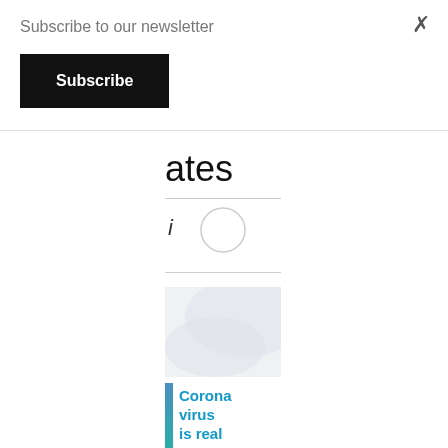Subscribe to our newsletter
Subscribe
ates
i
[Figure (photo): Abstract light gray/white background with soft curved shapes, partially visible below a newsletter overlay popup]
[Figure (infographic): Coronavirus is real banner with teal/blue vertical stripe on the left and bold blue text reading 'Corona virus is real']